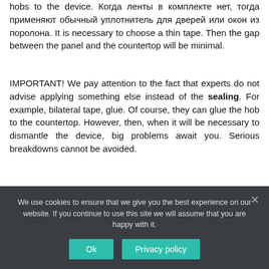hobs to the device. Когда ленты в комплекте нет, тогда применяют обычный уплотнитель для дверей или окон из поролона. It is necessary to choose a thin tape. Then the gap between the panel and the countertop will be minimal.
IMPORTANT! We pay attention to the fact that experts do not advise applying something else instead of the sealing. For example, bilateral tape, glue. Of course, they can glue the hob to the countertop. However, then, when it will be necessary to dismantle the device, big problems await you. Serious breakdowns cannot be avoided.
What experts advise when connecting hobs?
We use cookies to ensure that we give you the best experience on our website. If you continue to use this site we will assume that you are happy with it.